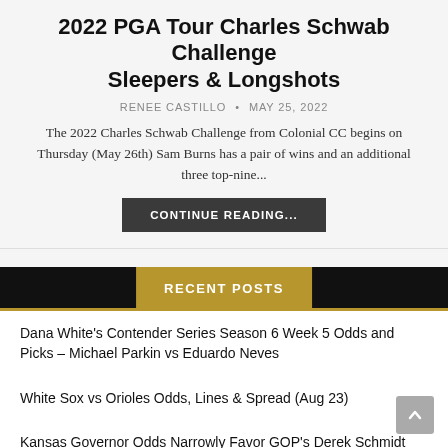2022 PGA Tour Charles Schwab Challenge Sleepers & Longshots
RENEE CASTILLO • MAY 25, 2022
The 2022 Charles Schwab Challenge from Colonial CC begins on Thursday (May 26th) Sam Burns has a pair of wins and an additional three top-nine...
CONTINUE READING...
RECENT POSTS
Dana White's Contender Series Season 6 Week 5 Odds and Picks – Michael Parkin vs Eduardo Neves
White Sox vs Orioles Odds, Lines & Spread (Aug 23)
Kansas Governor Odds Narrowly Favor GOP's Derek Schmidt over Democrat Laura Kelly
Mets vs Yankees Odds, Lines & Spread (Aug 22)